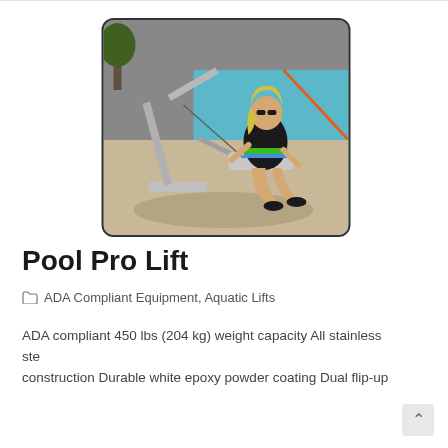[Figure (photo): A woman in a black swimsuit sitting on a pool lift beside a swimming pool. The lift is a stainless steel mechanical device mounted on the pool deck.]
Pool Pro Lift
ADA Compliant Equipment, Aquatic Lifts
ADA compliant 450 lbs (204 kg) weight capacity All stainless ste construction Durable white epoxy powder coating Dual flip-up